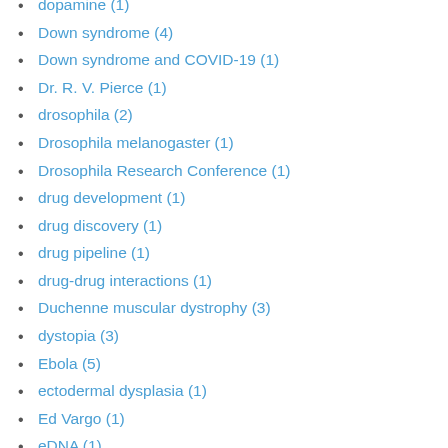dopamine (1)
Down syndrome (4)
Down syndrome and COVID-19 (1)
Dr. R. V. Pierce (1)
drosophila (2)
Drosophila melanogaster (1)
Drosophila Research Conference (1)
drug development (1)
drug discovery (1)
drug pipeline (1)
drug-drug interactions (1)
Duchenne muscular dystrophy (3)
dystopia (3)
Ebola (5)
ectodermal dysplasia (1)
Ed Vargo (1)
eDNA (1)
Edward Jenner (1)
Edwards syndrome (1)
egg freezing (1)
Egyptian fruit bat (1)
Eliza O'Neill (1)
Elof Carlson (1)
embryo (2)
embryo engineering (1)
Emily St. John Mandel (1)
Emmanuel Calmels (1)